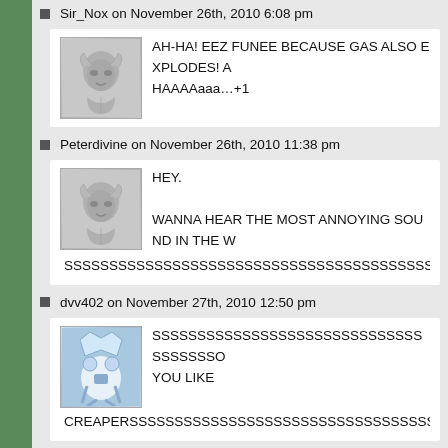Sir_Nox on November 26th, 2010 6:08 pm
AH-HA! EEZ FUNEE BECAUSE GAS ALSO EXPLODES! A HAAAAaaa…+1
Peterdivine on November 26th, 2010 11:38 pm
HEY.

WANNA HEAR THE MOST ANNOYING SOUND IN THE W

SSSSSSSSSSSSSSSSSSSSSSSSSSSSSSSSSSSSSSSSSSSSSSSSSS
dvv402 on November 27th, 2010 12:50 pm
SSSSSSSSSSSSSSSSSSSSSSSSSSSSSSSSSSSSSSSO YOU LIKE

CREAPERSSSSSSSSSSSSSSSSSSSSSSSSSSSSSSSSSSSSSSSSSSSS
Luigi676 on November 28th, 2010 9:47 am